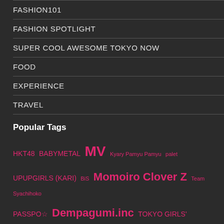FASHION101
FASHION SPOTLIGHT
SUPER COOL AWESOME TOKYO NOW
FOOD
EXPERIENCE
TRAVEL
Popular Tags
HKT48 BABYMETAL MV Kyary Pamyu Pamyu palet UPUPGIRLS (KARI) BiS Momoiro Clover Z Team Syachihoko PASSPO☆ Dempagumi.inc TOKYO GIRLS' STYLE